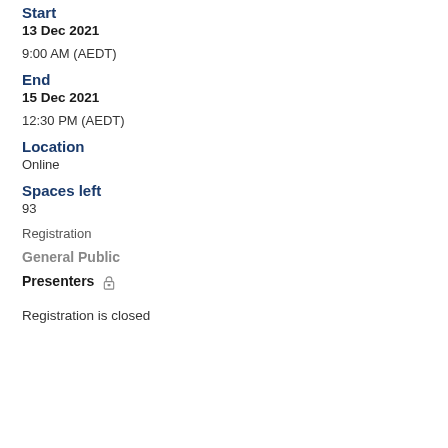Start
13 Dec 2021
9:00 AM (AEDT)
End
15 Dec 2021
12:30 PM (AEDT)
Location
Online
Spaces left
93
Registration
General Public
Presenters 🔒
Registration is closed